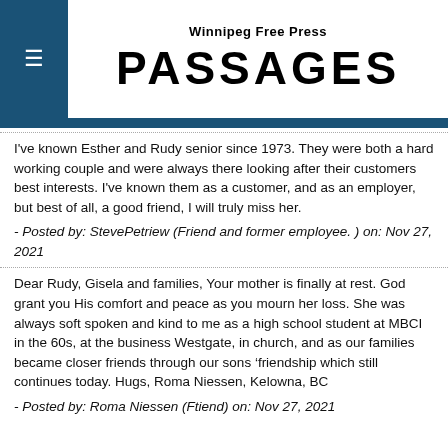Winnipeg Free Press PASSAGES
I've known Esther and Rudy senior since 1973. They were both a hard working couple and were always there looking after their customers best interests. I've known them as a customer, and as an employer, but best of all, a good friend, I will truly miss her.
- Posted by: StevePetriew (Friend and former employee. ) on: Nov 27, 2021
Dear Rudy, Gisela and families, Your mother is finally at rest. God grant you His comfort and peace as you mourn her loss. She was always soft spoken and kind to me as a high school student at MBCI in the 60s, at the business Westgate, in church, and as our families became closer friends through our sons ‘friendship which still continues today. Hugs, Roma Niessen, Kelowna, BC
- Posted by: Roma Niessen (Ftiend) on: Nov 27, 2021